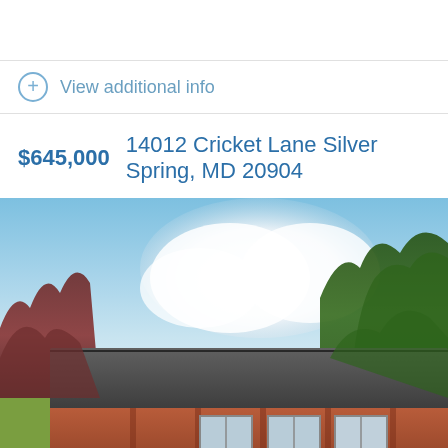View additional info
$645,000  14012 Cricket Lane Silver Spring, MD 20904
[Figure (photo): Exterior photo of a brick ranch-style house at 14012 Cricket Lane Silver Spring, MD 20904, showing the front facade with a dark gray roof, brick exterior, white-trimmed windows, green trees on the right, reddish-purple foliage on the left, and a partly cloudy blue sky.]